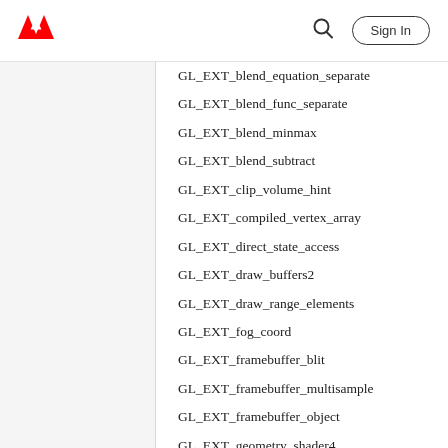Adobe [logo] | [search] Sign In
GL_EXT_blend_equation_separate
GL_EXT_blend_func_separate
GL_EXT_blend_minmax
GL_EXT_blend_subtract
GL_EXT_clip_volume_hint
GL_EXT_compiled_vertex_array
GL_EXT_direct_state_access
GL_EXT_draw_buffers2
GL_EXT_draw_range_elements
GL_EXT_fog_coord
GL_EXT_framebuffer_blit
GL_EXT_framebuffer_multisample
GL_EXT_framebuffer_object
GL_EXT_geometry_shader4